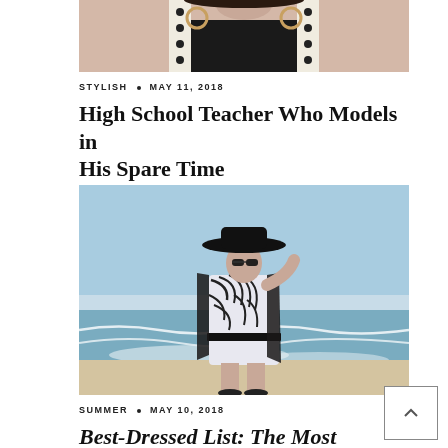[Figure (photo): Cropped photo of a woman from chin down wearing a black top with polka dot straps and large hoop earrings]
STYLISH • MAY 11, 2018
High School Teacher Who Models in His Spare Time
[Figure (photo): Woman standing on a beach wearing a black wide-brim hat, sunglasses, a black and white zebra-print romper with a black belt, and a dark shawl. Ocean waves and blue sky in background.]
SUMMER • MAY 10, 2018
Best-Dressed List: The Most Stylish